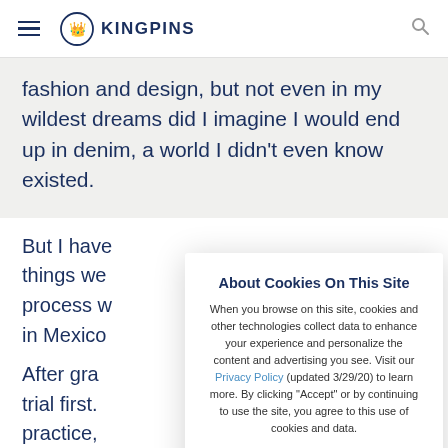KINGPINS
fashion and design, but not even in my wildest dreams did I imagine I would end up in denim, a world I didn't even know existed.
But I have [things we] [process w] [in Mexico]
After gra[duating] trial first. [practice,] found to b[e] There is [a]
About Cookies On This Site
When you browse on this site, cookies and other technologies collect data to enhance your experience and personalize the content and advertising you see. Visit our Privacy Policy (updated 3/29/20) to learn more. By clicking "Accept" or by continuing to use the site, you agree to this use of cookies and data.
Accept